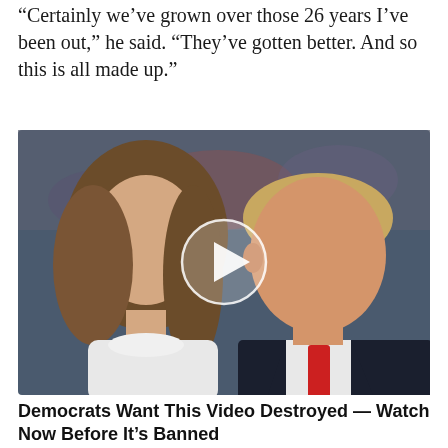“Certainly we’ve grown over those 26 years I’ve been out,” he said. “They’ve gotten better. And so this is all made up.”
[Figure (photo): Photo of two people (a woman with long brown hair in white clothing on the left, and a man in a dark suit with a red tie on the right) with a video play button overlay in the center.]
Democrats Want This Video Destroyed — Watch Now Before It’s Banned
🔥 233,710